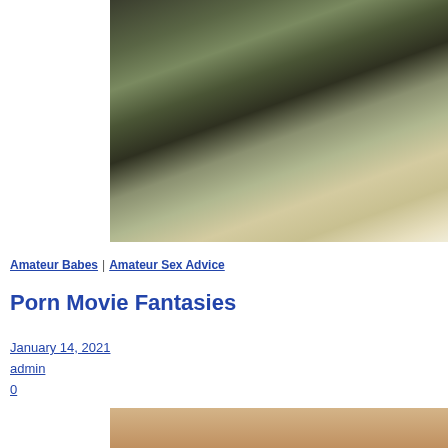[Figure (photo): Close-up photo of dark rocky/earthy texture with lighter sandy area at bottom, cropped at top-right of page]
Amateur Babes | Amateur Sex Advice
Porn Movie Fantasies
January 14, 2021
admin
0
[Figure (photo): Partial photo visible at bottom, showing light skin-toned surface]